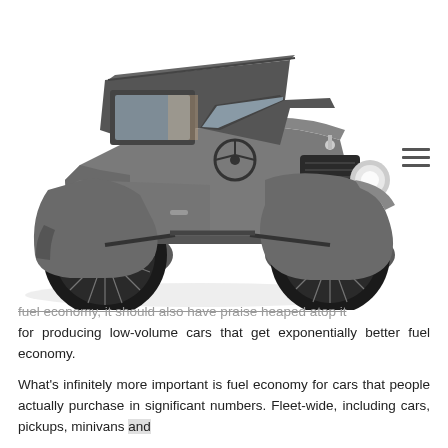[Figure (illustration): Illustration of a vintage/antique Ford Model T style automobile in gray tones, shown in three-quarter front view. The car has large spoke wheels, an open-top coupe body, and a rounded hood with radiator grille. A hamburger menu icon (three horizontal lines) appears to the right of the car image.]
fuel economy, it should also have praise heaped atop it for producing low-volume cars that get exponentially better fuel economy.
What's infinitely more important is fuel economy for cars that people actually purchase in significant numbers. Fleet-wide, including cars, pickups, minivans and